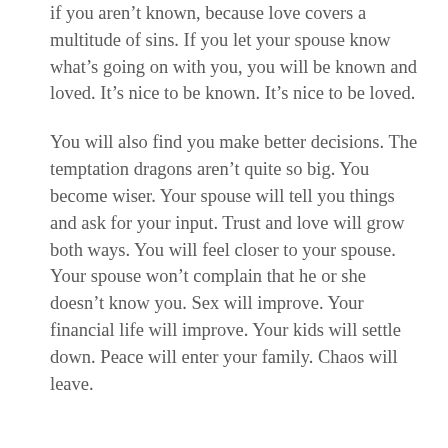if you aren't known, because love covers a multitude of sins. If you let your spouse know what's going on with you, you will be known and loved. It's nice to be known. It's nice to be loved.
You will also find you make better decisions. The temptation dragons aren't quite so big. You become wiser. Your spouse will tell you things and ask for your input. Trust and love will grow both ways. You will feel closer to your spouse. Your spouse won't complain that he or she doesn't know you. Sex will improve. Your financial life will improve. Your kids will settle down. Peace will enter your family. Chaos will leave.